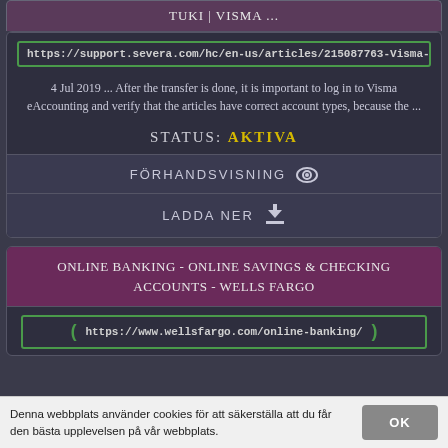TUKI | VISMA ...
https://support.severa.com/hc/en-us/articles/215087763-Visma-eAccoun
4 Jul 2019 ... After the transfer is done, it is important to log in to Visma eAccounting and verify that the articles have correct account types, because the ...
STATUS: AKTIVA
FÖRHANDSVISNING
LADDA NER
ONLINE BANKING - ONLINE SAVINGS & CHECKING ACCOUNTS - WELLS FARGO
https://www.wellsfargo.com/online-banking/
Denna webbplats använder cookies för att säkerställa att du får den bästa upplevelsen på vår webbplats.
OK